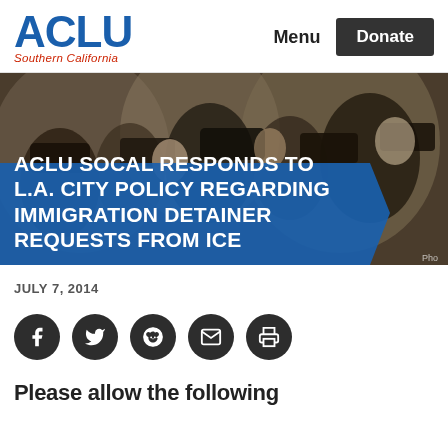[Figure (logo): ACLU Southern California logo — bold blue ACLU text with red 'Southern California' subtitle]
Menu   Donate
[Figure (photo): Crowd of photographers and journalists with cameras, dark editorial photo. Overlaid with blue banner title.]
ACLU SOCAL RESPONDS TO L.A. CITY POLICY REGARDING IMMIGRATION DETAINER REQUESTS FROM ICE
JULY 7, 2014
[Figure (infographic): Row of social sharing icons: Facebook, Twitter, Reddit, Email, Print — white icons on dark circular backgrounds]
Please allow the following